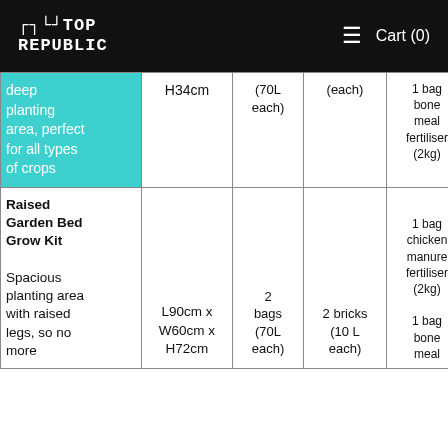Rooftop Republic | Cart (0)
| Product | Dimensions | Soil | Coco peat | Fertiliser | Also included |
| --- | --- | --- | --- | --- | --- |
| deep planting area, perfect for all types of crops | H34cm | (70L each) | (each) | 1 bag bone meal fertiliser (2kg) | har... 1 b sea org s... |
| Raised Garden Bed Grow Kit

Spacious planting area with raised legs, so no more | L90cm x W60cm x H72cm | 2 bags (70L each) | 2 bricks (10 L each) | 1 bag chicken manure fertiliser (2kg)
1 bag bone meal | 1 H Gard G 1 b h tr 1 b har 1 b |